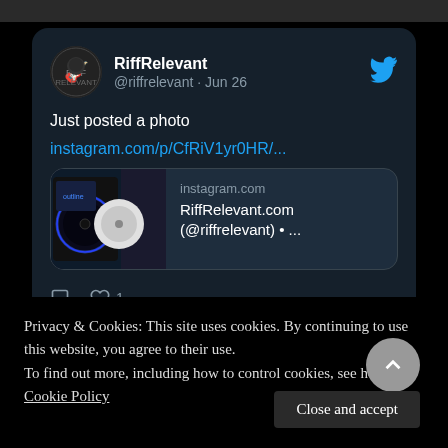[Figure (screenshot): Twitter/X post card from RiffRelevant (@riffrelevant) dated Jun 26 showing 'Just posted a photo' with an instagram.com link preview showing vinyl records]
Privacy & Cookies: This site uses cookies. By continuing to use this website, you agree to their use.
To find out more, including how to control cookies, see here: Cookie Policy
Close and accept